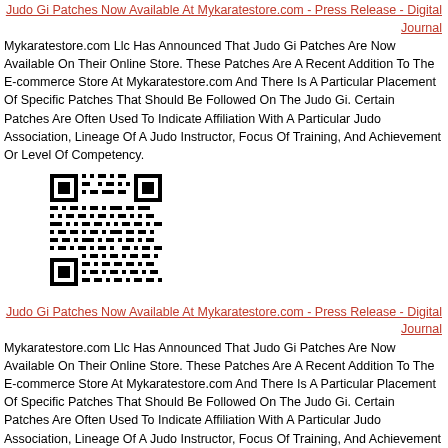Judo Gi Patches Now Available At Mykaratestore.com - Press Release - Digital Journal
Mykaratestore.com Llc Has Announced That Judo Gi Patches Are Now Available On Their Online Store. These Patches Are A Recent Addition To The E-commerce Store At Mykaratestore.com And There Is A Particular Placement Of Specific Patches That Should Be Followed On The Judo Gi. Certain Patches Are Often Used To Indicate Affiliation With A Particular Judo Association, Lineage Of A Judo Instructor, Focus Of Training, And Achievement Or Level Of Competency.
[Figure (other): QR code image]
Judo Gi Patches Now Available At Mykaratestore.com - Press Release - Digital Journal
Mykaratestore.com Llc Has Announced That Judo Gi Patches Are Now Available On Their Online Store. These Patches Are A Recent Addition To The E-commerce Store At Mykaratestore.com And There Is A Particular Placement Of Specific Patches That Should Be Followed On The Judo Gi. Certain Patches Are Often Used To Indicate Affiliation With A Particular Judo Association, Lineage Of A Judo Instructor, Focus Of Training, And Achievement Or Level Of Competency.
[Figure (other): QR code image (partial, bottom of page)]